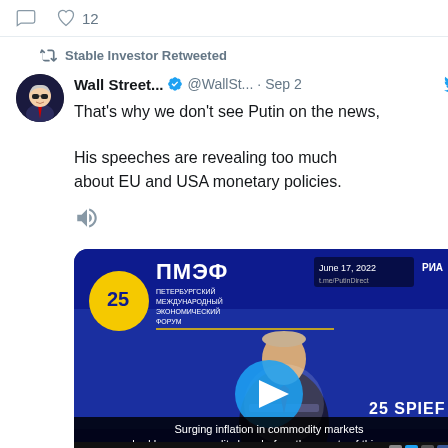[Figure (screenshot): Twitter/X social media screenshot showing a retweet by Stable Investor of a Wall Street account tweet dated Sep 2, stating: "That's why we don't see Putin on the news, His speeches are revealing too much about EU and USA monetary policies." Below is a video thumbnail showing Vladimir Putin speaking at the 25th ПМЭФ (St. Petersburg International Economic Forum) on June 17, 2022, with subtitle text: "Surging inflation in commodity markets had become a reality long before the events of this year." The video is titled 'VLADIMIR PUTIN IN HIS OWN WORDS.' from PutinDirect.]